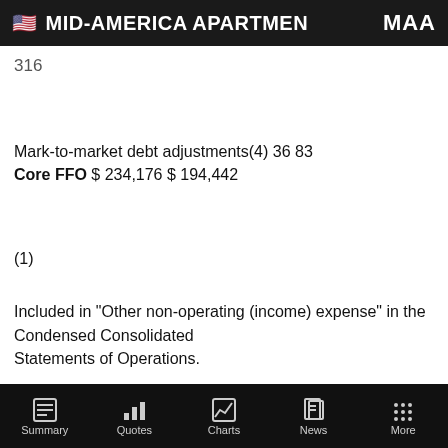🇺🇸 MID-AMERICA APARTMEN  MAA
316
Mark-to-market debt adjustments(4) 36 83
Core FFO $ 234,176 $ 194,442
(1)
Included in "Other non-operating (income) expense" in the Condensed Consolidated Statements of Operations.
(2)
Summary  Quotes  Charts  News  More